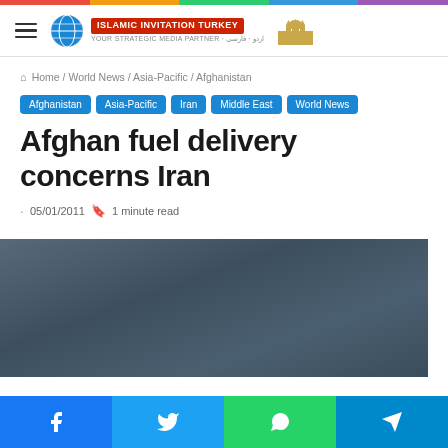Islamic Invitation Turkey
Home / World News / Asia-Pacific / Afghanistan
Afghanistan
Asia-Pacific
Iran
Middle East
World News
Afghan fuel delivery concerns Iran
05/01/2011  1 minute read
[Figure (photo): Dark gradient background image, article hero image placeholder]
Share buttons: Facebook, Twitter, WhatsApp, Telegram